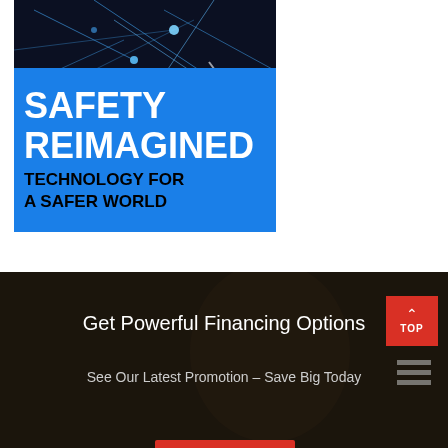[Figure (illustration): Advertisement banner with dark network map background on top and blue lower half. White bold text reads 'SAFETY REIMAGINED' in large letters, below that in black bold: 'TECHNOLOGY FOR A SAFER WORLD'.]
[Figure (photo): Dark photo of a worker in a yellow safety vest, overlaid with dark tint. White text 'Get Powerful Financing Options' and subtitle 'See Our Latest Promotion - Save Big Today'. Red TOP button with upward arrow in top right corner. Partial red button visible at very bottom.]
Get Powerful Financing Options
See Our Latest Promotion – Save Big Today